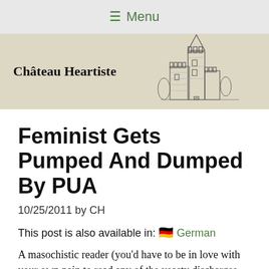≡ Menu
Château Heartiste
Feminist Gets Pumped And Dumped By PUA
10/25/2011 by CH
This post is also available in: 🇩🇪 German
A masochistic reader (you'd have to be in love with your own pain to read any of the yeasty discharges fouling up lizzabel) sent